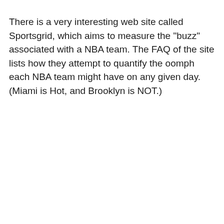There is a very interesting web site called Sportsgrid, which aims to measure the "buzz" associated with a NBA team. The FAQ of the site lists how they attempt to quantify the oomph each NBA team might have on any given day. (Miami is Hot, and Brooklyn is NOT.)